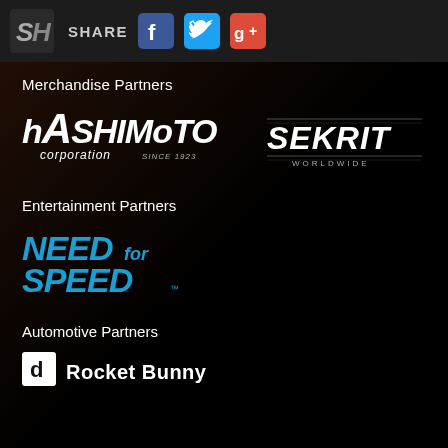SH SHARE [Facebook] [Twitter] [Google+]
Merchandise Partners
[Figure (logo): Hashimoto Corporation logo - white italic bold text reading HASHIMOTO corporation SINCE 1923]
[Figure (logo): SEKRIT WORLDWIDE logo - white bold italic speed-lines style text]
Entertainment Partners
[Figure (logo): Need for Speed logo - blue and white italic bold text with speed styling]
Automotive Partners
[Figure (logo): Rocket Bunny logo - white text with small white square icon containing letter d]